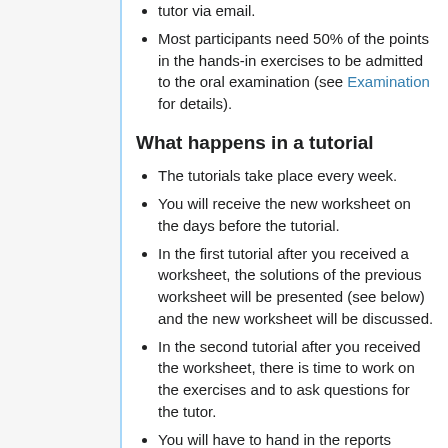tutor via email.
Most participants need 50% of the points in the hands-in exercises to be admitted to the oral examination (see Examination for details).
What happens in a tutorial
The tutorials take place every week.
You will receive the new worksheet on the days before the tutorial.
In the first tutorial after you received a worksheet, the solutions of the previous worksheet will be presented (see below) and the new worksheet will be discussed.
In the second tutorial after you received the worksheet, there is time to work on the exercises and to ask questions for the tutor.
You will have to hand in the reports